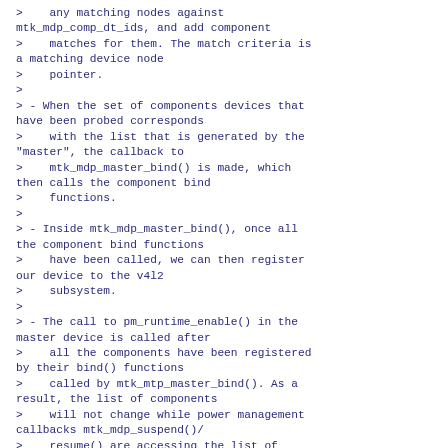>    any matching nodes against mtk_mdp_comp_dt_ids, and add component
>    matches for them. The match criteria is a matching device node
>    pointer.
>
> - When the set of components devices that have been probed corresponds
>    with the list that is generated by the "master", the callback to
>    mtk_mdp_master_bind() is made, which then calls the component bind
>    functions.
>
> - Inside mtk_mdp_master_bind(), once all the component bind functions
>    have been called, we can then register our device to the v4l2
>    subsystem.
>
> - The call to pm_runtime_enable() in the master device is called after
>    all the components have been registered by their bind() functions
>    called by mtk_mtp_master_bind(). As a result, the list of components
>    will not change while power management callbacks mtk_mdp_suspend()/
>    resume() are accessing the list of components.